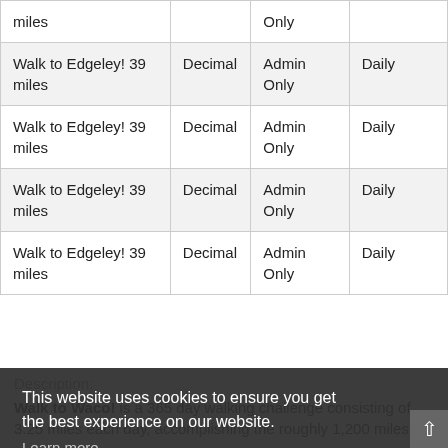| Name | Type | Visibility | Frequency |
| --- | --- | --- | --- |
| miles |  | Only |  |
| Walk to Edgeley! 39 miles | Decimal | Admin Only | Daily |
| Walk to Edgeley! 39 miles | Decimal | Admin Only | Daily |
| Walk to Edgeley! 39 miles | Decimal | Admin Only | Daily |
| Walk to Edgeley! 39 miles | Decimal | Admin Only | Daily |
Description:
Walk to Waco! is a 365 day walking challenge consisting of 3.25 miles each day, accomplishing the roughly 1,200 miles it
[Figure (screenshot): Cookie consent overlay with message 'This website uses cookies to ensure you get the best experience on our website.' and a 'Learn more' link, plus a yellow 'Got it!' button.]